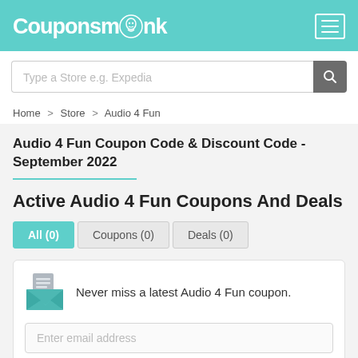Couponsmonk
Type a Store e.g. Expedia
Home > Store > Audio 4 Fun
Audio 4 Fun Coupon Code & Discount Code - September 2022
Active Audio 4 Fun Coupons And Deals
All (0)   Coupons (0)   Deals (0)
Never miss a latest Audio 4 Fun coupon.
Enter email address